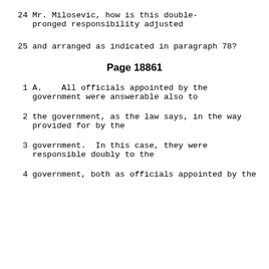24    Mr. Milosevic, how is this double-pronged responsibility adjusted
25    and arranged as indicated in paragraph 78?
Page 18861
1    A.    All officials appointed by the government were answerable also to
2    the government, as the law says, in the way provided for by the
3    government.  In this case, they were responsible doubly to the
4    government, both as officials appointed by the